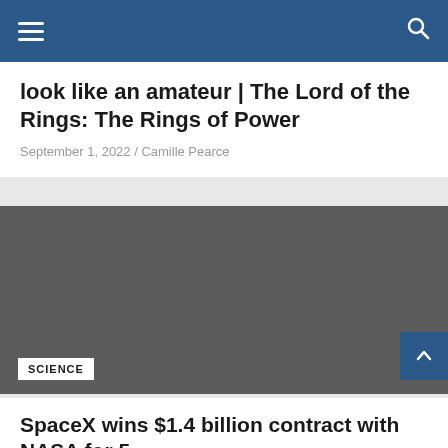Navigation bar with hamburger menu and search icon
look like an amateur | The Lord of the Rings: The Rings of Power
September 1, 2022 / Camille Pearce
[Figure (photo): Dark gray placeholder image for a Science article]
SCIENCE
SpaceX wins $1.4 billion contract with NASA for 5